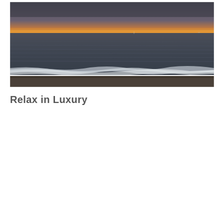[Figure (photo): Aerial or elevated view of an ocean beach at sunset/dusk. The sky shows warm orange and yellow tones near the horizon, transitioning to darker gray-blue above. The sea is dark gray with visible wave patterns. White breaking waves are visible near the shoreline. A dark sandy beach strip is visible at the bottom of the image.]
Relax in Luxury